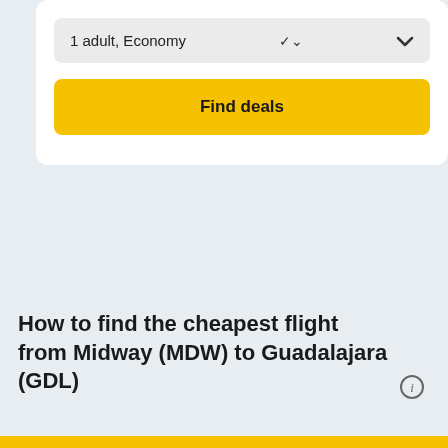1 adult, Economy
Find deals
How to find the cheapest flight from Midway (MDW) to Guadalajara (GDL)